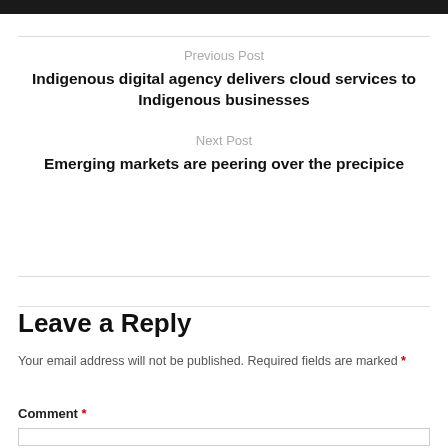Previous Post
Indigenous digital agency delivers cloud services to Indigenous businesses
Next Post
Emerging markets are peering over the precipice
Leave a Reply
Your email address will not be published. Required fields are marked *
Comment *